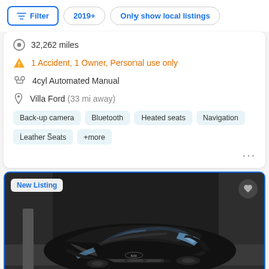Filter | 2019+ | Only show local listings
32,262 miles
1 Accident, 1 Owner, Personal use only
4cyl Automated Manual
Villa Ford (33 mi away)
Back-up camera | Bluetooth | Heated seats | Navigation | Leather Seats | +more
[Figure (photo): Black Kia car photographed from front-right angle in a dealership lot, labeled New Listing]